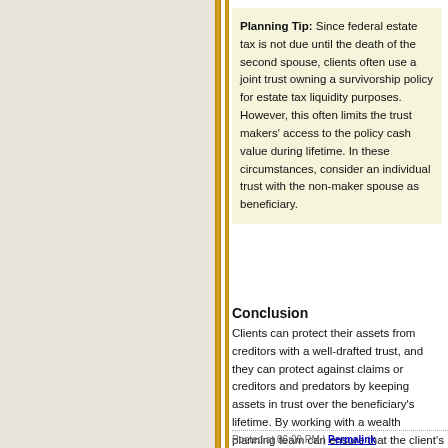Planning Tip: Since federal estate tax is not due until the death of the second spouse, clients often use a joint trust owning a survivorship policy for estate tax liquidity purposes. However, this often limits the trust makers' access to the policy cash value during lifetime. In these circumstances, consider an individual trust with the non-maker spouse as beneficiary.
Conclusion
Clients can protect their assets from creditors with a well-drafted trust, and they can protect against claims or creditors and predators by keeping assets in trust over the beneficiary's lifetime. By working with a wealth planning team can ensure that the trust meets a client's unique planning objectives.
Posted at 06:00 PM | Permalink